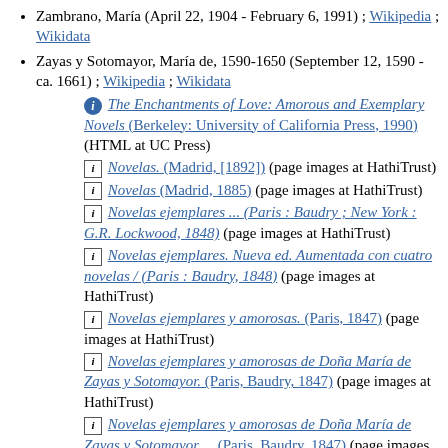Zambrano, María (April 22, 1904 - February 6, 1991) ; Wikipedia ; Wikidata
Zayas y Sotomayor, María de, 1590-1650 (September 12, 1590 - ca. 1661) ; Wikipedia ; Wikidata
The Enchantments of Love: Amorous and Exemplary Novels (Berkeley: University of California Press, 1990) (HTML at UC Press)
Novelas. (Madrid, [1892]) (page images at HathiTrust)
Novelas (Madrid, 1885) (page images at HathiTrust)
Novelas ejemplares ... (Paris : Baudry ; New York : G.R. Lockwood, 1848) (page images at HathiTrust)
Novelas ejemplares. Nueva ed. Aumentada con cuatro novelas / (Paris : Baudry, 1848) (page images at HathiTrust)
Novelas ejemplares y amorosas. (Paris, 1847) (page images at HathiTrust)
Novelas ejemplares y amorosas de Doña María de Zayas y Sotomayor. (Paris, Baudry, 1847) (page images at HathiTrust)
Novelas ejemplares y amorosas de Doña María de Zayas y Sotomayor ... (Paris, Baudry, 1847) (page images at HathiTrust)